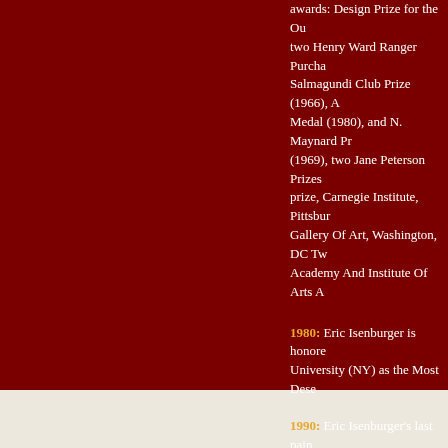awards: Design Prize for the Ou... two Henry Ward Ranger Purcha... Salmagundi Club Prize (1966), A... Medal (1980), and N. Maynard Pr... (1969), two Jane Peterson Prizes... prize, Carnegie Institute, Pittsbur... Gallery Of Art, Washington, DC Tw... Academy And Institute Of Arts A...
1980: Eric Isenburger is honore... University (NY) as the Most Dese...
1990: Eric Isenburger's last pain...
1994: Eric Isenburger dies in Ne...
1999: "Eric Isenburger 1902-19...
2000: Jula Isenburger dies at ho...